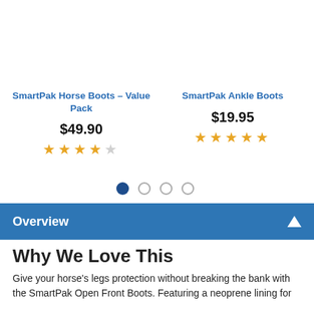SmartPak Horse Boots – Value Pack
$49.90
[Figure (other): 4 out of 5 star rating for SmartPak Horse Boots Value Pack]
SmartPak Ankle Boots
$19.95
[Figure (other): 4.5 out of 5 star rating for SmartPak Ankle Boots]
[Figure (other): Pagination dots: 4 circles, first one filled/active]
Overview
Why We Love This
Give your horse's legs protection without breaking the bank with the SmartPak Open Front Boots. Featuring a neoprene lining for